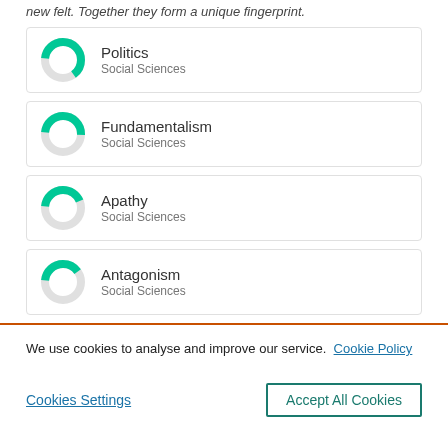new felt. Together they form a unique fingerprint.
Politics — Social Sciences
Fundamentalism — Social Sciences
Apathy — Social Sciences
Antagonism — Social Sciences
We use cookies to analyse and improve our service. Cookie Policy
Cookies Settings | Accept All Cookies